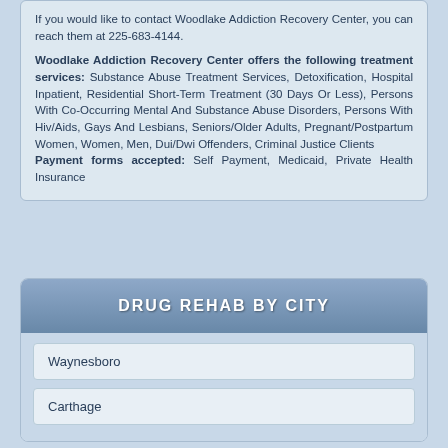If you would like to contact Woodlake Addiction Recovery Center, you can reach them at 225-683-4144.
Woodlake Addiction Recovery Center offers the following treatment services: Substance Abuse Treatment Services, Detoxification, Hospital Inpatient, Residential Short-Term Treatment (30 Days Or Less), Persons With Co-Occurring Mental And Substance Abuse Disorders, Persons With Hiv/Aids, Gays And Lesbians, Seniors/Older Adults, Pregnant/Postpartum Women, Women, Men, Dui/Dwi Offenders, Criminal Justice Clients Payment forms accepted: Self Payment, Medicaid, Private Health Insurance
DRUG REHAB BY CITY
Waynesboro
Carthage